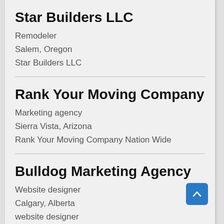Star Builders LLC
Remodeler
Salem, Oregon
Star Builders LLC
Rank Your Moving Company
Marketing agency
Sierra Vista, Arizona
Rank Your Moving Company Nation Wide
Bulldog Marketing Agency
Website designer
Calgary, Alberta
website designer